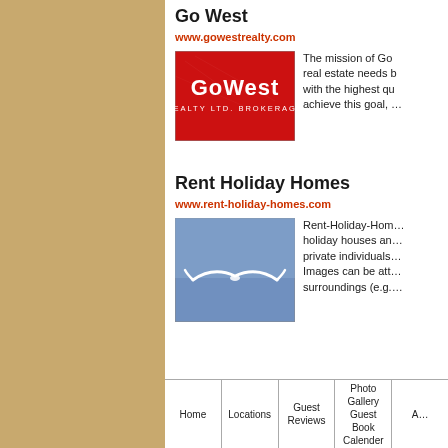Go West
www.gowestrealty.com
[Figure (logo): GoWest Realty Ltd. Brokerage logo — white text on red background]
The mission of Go... real estate needs b... with the highest qu... achieve this goal, ...
Rent Holiday Homes
www.rent-holiday-homes.com
[Figure (logo): Rent Holiday Homes logo — white bird/seagull silhouette on blue background]
Rent-Holiday-Hom... holiday houses an... private individuals... Images can be att... surroundings (e.g....
Home | Locations | Guest Reviews | Photo Gallery Guest Book Calender | A...